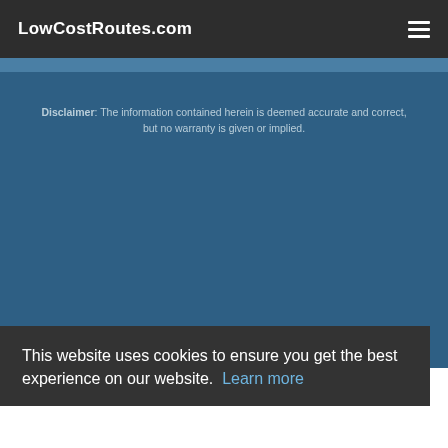LowCostRoutes.com
Disclaimer: The information contained herein is deemed accurate and correct, but no warranty is given or implied.
This website uses cookies to ensure you get the best experience on our website. Learn more